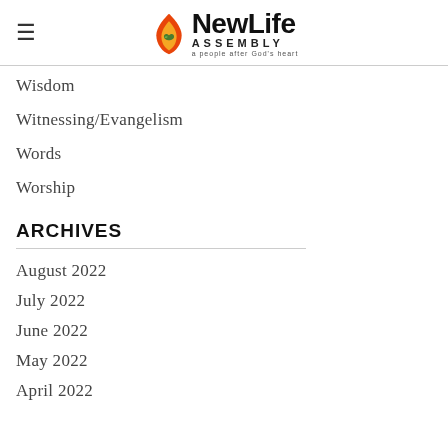NewLife Assembly — a people after God's heart
Wisdom
Witnessing/Evangelism
Words
Worship
ARCHIVES
August 2022
July 2022
June 2022
May 2022
April 2022